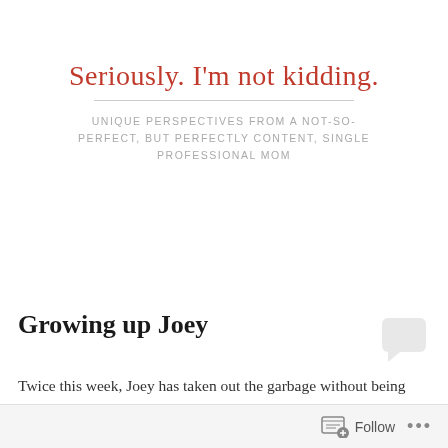Seriously. I'm not kidding.
UNIQUE PERSPECTIVES FROM A NOT-SO-PERFECT, BUT PERFECTLY CONTENT, SINGLE PROFESSIONAL MOM
Growing up Joey
Twice this week, Joey has taken out the garbage without being asked.  I realize this has happened a few times before this week.  Like, I mean, maybe two or three times over the past six years or so.  But in the past, it's always been a strategic move for him.  A poorly veiled attempt to prove that he's responsible enough to have sex with his girlfriend or buy a